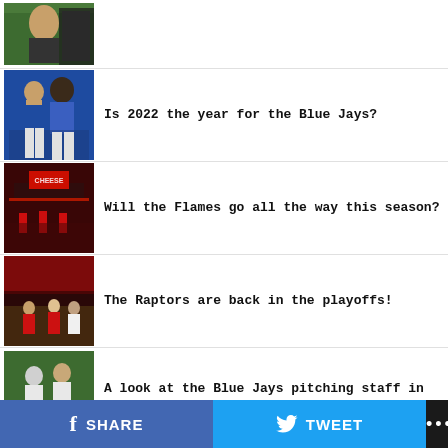[Figure (photo): Partial top image - sports photo, green field background, person in black]
Is 2022 the year for the Blue Jays?
Will the Flames go all the way this season?
The Raptors are back in the playoffs!
A look at the Blue Jays pitching staff in 2022
SHARE   TWEET   ...